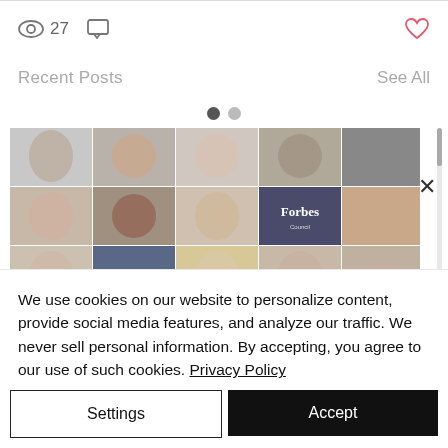27
Recent Posts
See All
[Figure (photo): Grid of professional headshot photos and Forbes Council branding tiles arranged in a mosaic layout]
We use cookies on our website to personalize content, provide social media features, and analyze our traffic. We never sell personal information. By accepting, you agree to our use of such cookies. Privacy Policy
Settings
Accept